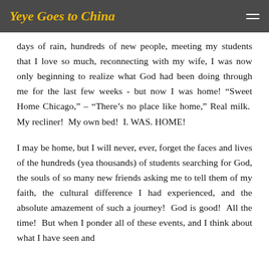Yeye Goes to China
days of rain, hundreds of new people, meeting my students that I love so much, reconnecting with my wife, I was now only beginning to realize what God had been doing through me for the last few weeks - but now I was home! “Sweet Home Chicago,” – “There’s no place like home,” Real milk. My recliner! My own bed! I. WAS. HOME!
I may be home, but I will never, ever, forget the faces and lives of the hundreds (yea thousands) of students searching for God, the souls of so many new friends asking me to tell them of my faith, the cultural difference I had experienced, and the absolute amazement of such a journey! God is good! All the time! But when I ponder all of these events, and I think about what I have seen and